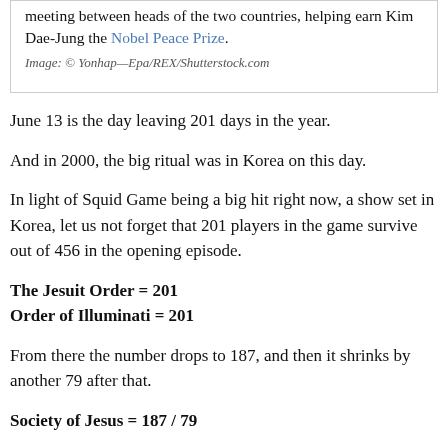meeting between heads of the two countries, helping earn Kim Dae-Jung the Nobel Peace Prize.
Image: © Yonhap—Epa/REX/Shutterstock.com
June 13 is the day leaving 201 days in the year.
And in 2000, the big ritual was in Korea on this day.
In light of Squid Game being a big hit right now, a show set in Korea, let us not forget that 201 players in the game survive out of 456 in the opening episode.
The Jesuit Order = 201
Order of Illuminati = 201
From there the number drops to 187, and then it shrinks by another 79 after that.
Society of Jesus = 187 / 79
Remember, the Jesuits were created to counter the 95 Theses and recognized by the Catholic Church on the day leaving 46 days in the year.
Kim Dae-jung = 95
Kim Jong Il = 46 (Catholic = 46)